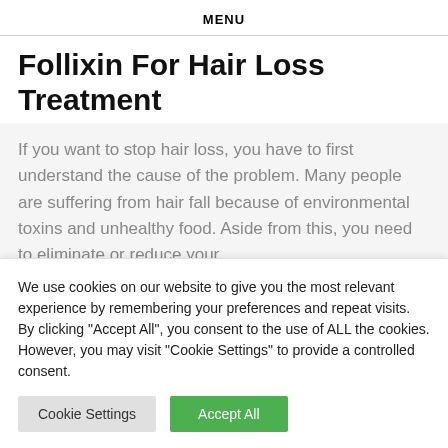MENU
Follixin For Hair Loss Treatment
If you want to stop hair loss, you have to first understand the cause of the problem. Many people are suffering from hair fall because of environmental toxins and unhealthy food. Aside from this, you need to eliminate or reduce your
We use cookies on our website to give you the most relevant experience by remembering your preferences and repeat visits. By clicking "Accept All", you consent to the use of ALL the cookies. However, you may visit "Cookie Settings" to provide a controlled consent.